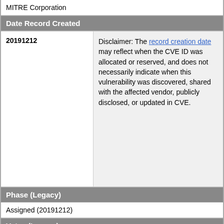MITRE Corporation
Date Record Created
| 20191212 | Disclaimer: The record creation date may reflect when the CVE ID was allocated or reserved, and does not necessarily indicate when this vulnerability was discovered, shared with the affected vendor, publicly disclosed, or updated in CVE. |
Phase (Legacy)
Assigned (20191212)
Votes (Legacy)
Comments (Legacy)
Proposed (Legacy)
N/A
This is a record on the CVE List, which provides common identifiers for publicly known cybersecurity vulnerabilities.
SEARCH CVE USING KEYWORDS: